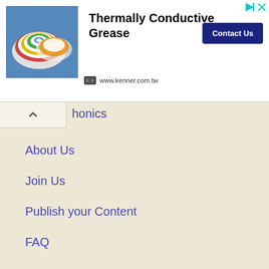[Figure (screenshot): Advertisement banner for Thermally Conductive Grease by kenner.com.tw, showing colorful tape/seal rolls image, title text, Contact Us button, and website URL]
honics
About Us
Join Us
Publish your Content
FAQ